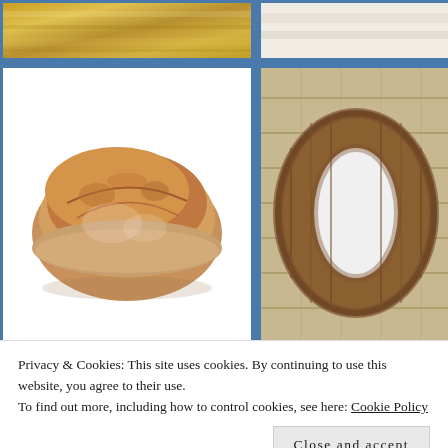[Figure (photo): Gold textured surface, partial view at top left]
[Figure (photo): Light cream/white surface, partial view at top right]
[Figure (photo): Bread loaf on white background - round rustic bread]
[Figure (photo): Wooden letter O on wood plank background]
[Figure (photo): Green leaves and plant branches, partial view]
[Figure (photo): Person with blonde/light hair, partial view]
Privacy & Cookies: This site uses cookies. By continuing to use this website, you agree to their use.
To find out more, including how to control cookies, see here: Cookie Policy
Close and accept